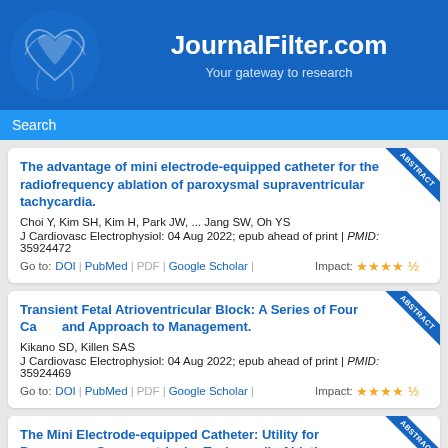JournalFilter.com — Your gateway to research
Search
The advantage of mini electrode-equipped catheter for the radiofrequency ablation of paroxysmal supraventricular tachycardia.
Choi Y, Kim SH, Kim H, Park JW, ... Jang SW, Oh YS
J Cardiovasc Electrophysiol: 04 Aug 2022; epub ahead of print | PMID: 35924472
Go to: DOI | PubMed | PDF | Google Scholar | Impact: ★★★★½
Transient Fetal Atrioventricular Block: A Series of Four Cases and Approach to Management.
Kikano SD, Killen SAS
J Cardiovasc Electrophysiol: 04 Aug 2022; epub ahead of print | PMID: 35924469
Go to: DOI | PubMed | PDF | Google Scholar | Impact: ★★★★½
The Mini Electrode-equipped Catheter: Utility for Paroxysmal Supraventricular Tachycardia Ablation.